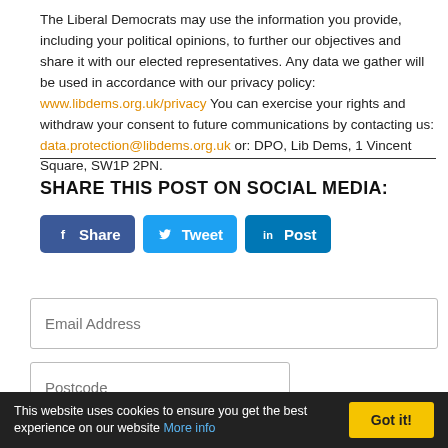The Liberal Democrats may use the information you provide, including your political opinions, to further our objectives and share it with our elected representatives. Any data we gather will be used in accordance with our privacy policy: www.libdems.org.uk/privacy You can exercise your rights and withdraw your consent to future communications by contacting us: data.protection@libdems.org.uk or: DPO, Lib Dems, 1 Vincent Square, SW1P 2PN.
SHARE THIS POST ON SOCIAL MEDIA:
[Figure (other): Social media sharing buttons: Facebook Share, Twitter Tweet, LinkedIn Post]
Email Address
Postcode
This website uses cookies to ensure you get the best experience on our website More info